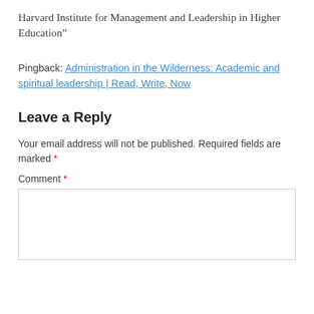Harvard Institute for Management and Leadership in Higher Education”
Pingback: Administration in the Wilderness: Academic and spiritual leadership | Read, Write, Now
Leave a Reply
Your email address will not be published. Required fields are marked *
Comment *